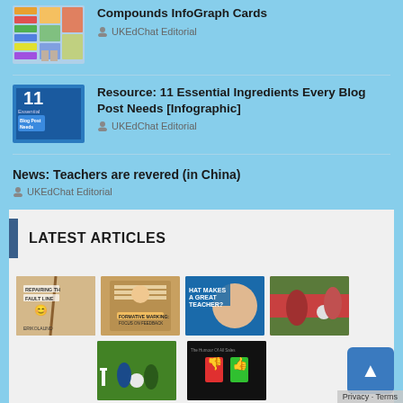[Figure (screenshot): Thumbnail image for Compounds InfoGraph Cards article]
Compounds InfoGraph Cards
UKEdChat Editorial
[Figure (screenshot): Thumbnail for 11 Essential Ingredients Every Blog Post Needs Infographic - blue cover with '11 Essential Blog Post Needs' text]
Resource: 11 Essential Ingredients Every Blog Post Needs [Infographic]
UKEdChat Editorial
News: Teachers are revered (in China)
UKEdChat Editorial
LATEST ARTICLES
[Figure (screenshot): Grid of article thumbnails: Repairing the Fault Line book cover, man with papers (Formative Marking: Focus on Feedback), What Makes a Great Teacher (woman smiling), sports photo, football/soccer photo, The Humour of All Sales book cover]
Privacy · Terms